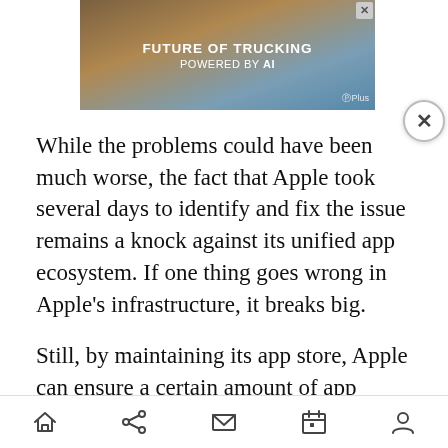[Figure (screenshot): Advertisement banner showing a truck with text 'FUTURE OF TRUCKING POWERED BY AI' and a GPlusAI logo, with a close X button]
While the problems could have been much worse, the fact that Apple took several days to identify and fix the issue remains a knock against its unified app ecosystem. If one thing goes wrong in Apple's infrastructure, it breaks big.
Still, by maintaining its app store, Apple can ensure a certain amount of app stability and convenience for installation and updating.  The company last night kicked the first Trojan app out of the app store, which is significant because it's managed to keep malicious apps out of its stores for so long. Android, meanwhile, has had issues with malicious apps for some time.
Navigation bar with home, share, mail, calendar, and profile icons